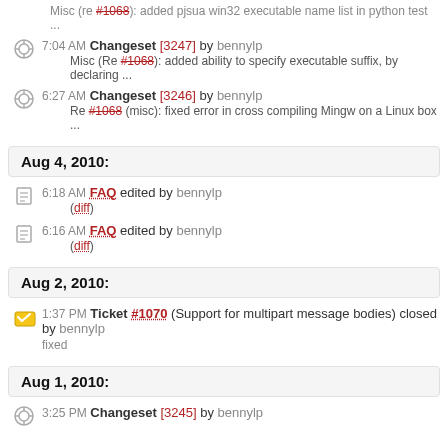Misc (re #1068): added pjsua win32 executable name list in python test ...
7:04 AM Changeset [3247] by bennylp
Misc (Re #1068): added ability to specify executable suffix, by declaring ...
6:27 AM Changeset [3246] by bennylp
Re #1068 (misc): fixed error in cross compiling Mingw on a Linux box ...
Aug 4, 2010:
6:18 AM FAQ edited by bennylp
(diff)
6:16 AM FAQ edited by bennylp
(diff)
Aug 2, 2010:
1:37 PM Ticket #1070 (Support for multipart message bodies) closed by bennylp
fixed
Aug 1, 2010:
3:25 PM Changeset [3245] by bennylp